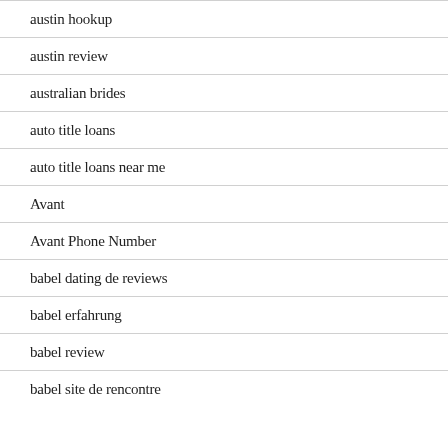austin hookup
austin review
australian brides
auto title loans
auto title loans near me
Avant
Avant Phone Number
babel dating de reviews
babel erfahrung
babel review
babel site de rencontre